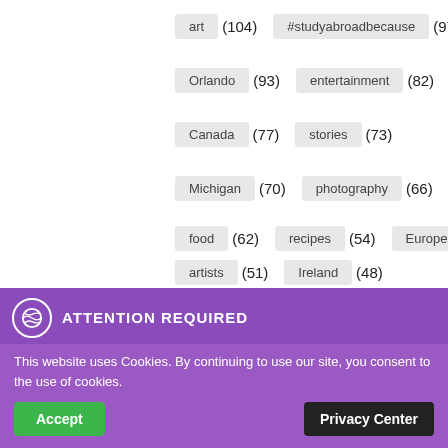[Figure (other): Tag cloud showing categories with counts: art (104), #studyabroadbecause (97), Orlando (93), entertainment (82), Canada (77), stories (73), Michigan (70), photography (66), food (62), recipes (54), Europe (53), artists (51), Ireland (48), London (47), writing (43), Italy (36)]
This website uses Cookies. By continuing to use our site, you consent to the use of cookies.
ATTENTION REQUIRED
Accept
Privacy Center